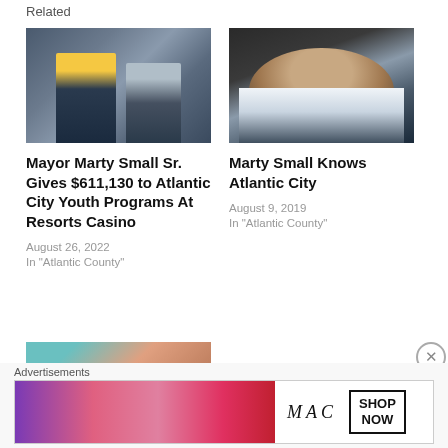Related
[Figure (photo): Two men at a podium, one wearing a yellow tie]
Mayor Marty Small Sr. Gives $611,130 to Atlantic City Youth Programs At Resorts Casino
August 26, 2022
In "Atlantic County"
[Figure (photo): Man in dark suit with blue tie seated in a car]
Marty Small Knows Atlantic City
August 9, 2019
In "Atlantic County"
[Figure (photo): Partial photo of a person in teal/turquoise clothing]
Advertisements
[Figure (photo): MAC Cosmetics advertisement with lipsticks and SHOP NOW button]